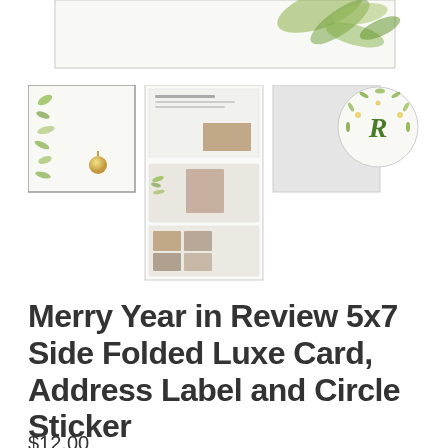[Figure (photo): Partial view of a holiday card with greenery/botanical watercolor decoration at top of page]
[Figure (photo): Product thumbnail gallery showing: 1) folded card with botanical greenery and gold ornament, 2) address labels and card pages, 3) blank envelope/card, 4) circular sticker with R monogram and snowflake wreath]
Merry Year in Review 5x7 Side Folded Luxe Card, Address Label and Circle Sticker
$12.00